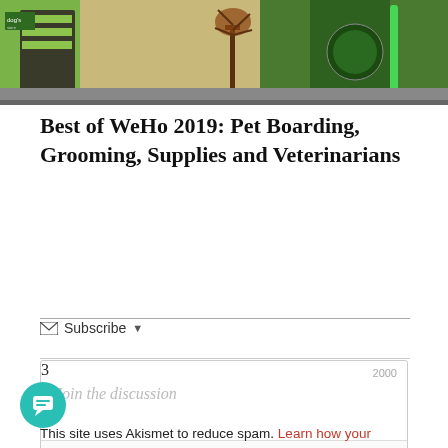[Figure (photo): Storefront photo of a pet shop with green walls, a tree decoration, and signage visible.]
Best of WeHo 2019: Pet Boarding, Grooming, Supplies and Veterinarians
Subscribe ▾
Join the discussion
This site uses Akismet to reduce spam. Learn how your